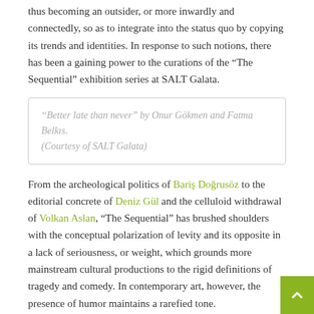thus becoming an outsider, or more inwardly and connectedly, so as to integrate into the status quo by copying its trends and identities. In response to such notions, there has been a gaining power to the curations of the “The Sequential” exhibition series at SALT Galata.
“Better late than never” by Onur Gökmen and Fatma Belkıs. (Courtesy of SALT Galata)
From the archeological politics of Bariş Doğrusöz to the editorial concrete of Deniz Gül and the celluloid withdrawal of Volkan Aslan, “The Sequential” has brushed shoulders with the conceptual polarization of levity and its opposite in a lack of seriousness, or weight, which grounds more mainstream cultural productions to the rigid definitions of tragedy and comedy. In contemporary art, however, the presence of humor maintains a rarefied tone.
That is the case with the exhibition, “Belkıs Hanım and Onur Efendi,” at SALT Galata, mounted by artists Fatma Belkıs and Oğur Gökmen. At first, the underground space where the artists’ work